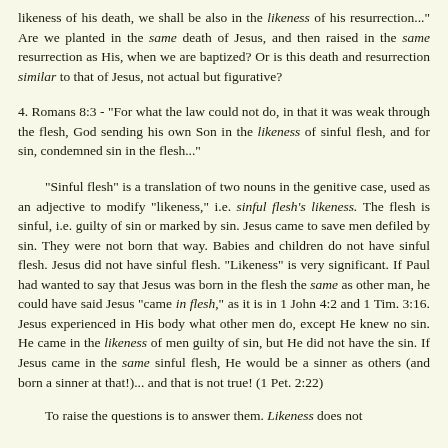likeness of his death, we shall be also in the likeness of his resurrection..." Are we planted in the same death of Jesus, and then raised in the same resurrection as His, when we are baptized? Or is this death and resurrection similar to that of Jesus, not actual but figurative?
4. Romans 8:3 - "For what the law could not do, in that it was weak through the flesh, God sending his own Son in the likeness of sinful flesh, and for sin, condemned sin in the flesh..."
"Sinful flesh" is a translation of two nouns in the genitive case, used as an adjective to modify "likeness," i.e. sinful flesh's likeness. The flesh is sinful, i.e. guilty of sin or marked by sin. Jesus came to save men defiled by sin. They were not born that way. Babies and children do not have sinful flesh. Jesus did not have sinful flesh. "Likeness" is very significant. If Paul had wanted to say that Jesus was born in the flesh the same as other man, he could have said Jesus "came in flesh," as it is in 1 John 4:2 and 1 Tim. 3:16. Jesus experienced in His body what other men do, except He knew no sin. He came in the likeness of men guilty of sin, but He did not have the sin. If Jesus came in the same sinful flesh, He would be a sinner as others (and born a sinner at that!)... and that is not true! (1 Pet. 2:22)
To raise the questions is to answer them. Likeness does not